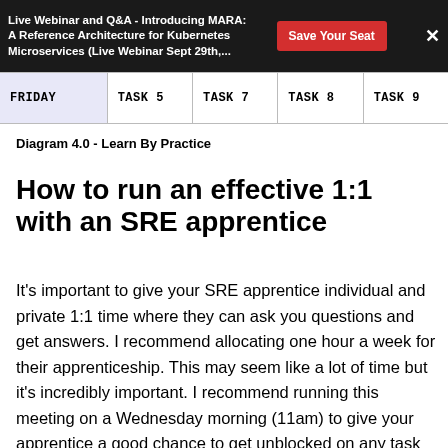Live Webinar and Q&A - Introducing MARA: A Reference Architecture for Kubernetes Microservices (Live Webinar Sept 29th,...  |  Save Your Seat  |  X
| FRIDAY | TASK 5 | TASK 7 | TASK 8 | TASK 9 |
| --- | --- | --- | --- | --- |
Diagram 4.0 - Learn By Practice
How to run an effective 1:1 with an SRE apprentice
It's important to give your SRE apprentice individual and private 1:1 time where they can ask you questions and get answers. I recommend allocating one hour a week for their apprenticeship. This may seem like a lot of time but it's incredibly important. I recommend running this meeting on a Wednesday morning (11am) to give your apprentice a good chance to get unblocked on any task they may be